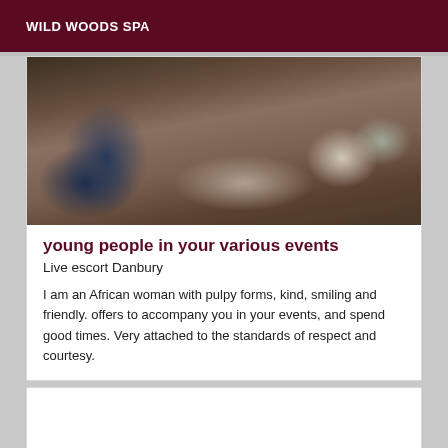WILD WOODS SPA
[Figure (photo): Photo showing spa items on a wooden surface: a dark blue/navy object on the left, stones/rocks in the center, and a white bottle/container on the right.]
young people in your various events
Live escort Danbury
I am an African woman with pulpy forms, kind, smiling and friendly. offers to accompany you in your events, and spend good times. Very attached to the standards of respect and courtesy.